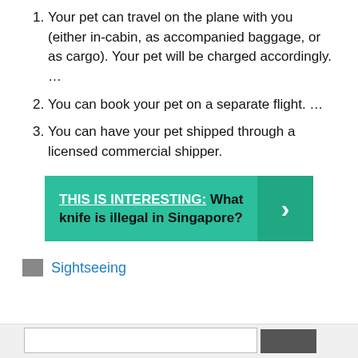Your pet can travel on the plane with you (either in-cabin, as accompanied baggage, or as cargo). Your pet will be charged accordingly. …
You can book your pet on a separate flight. …
You can have your pet shipped through a licensed commercial shipper.
THIS IS INTERESTING:  What knife is illegal in Singapore?
Sightseeing